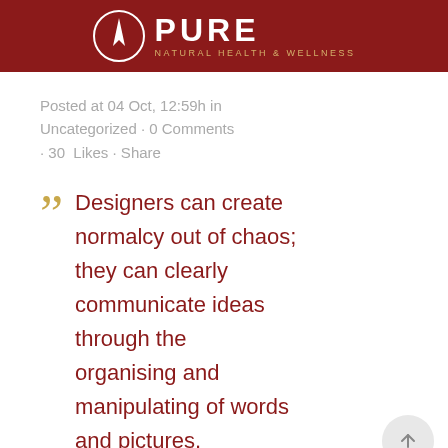[Figure (logo): Pure Natural Health & Wellness logo with circular emblem on dark red header bar]
Posted at 04 Oct, 12:59h in Uncategorized · 0 Comments · 30 Likes · Share
Designers can create normalcy out of chaos; they can clearly communicate ideas through the organising and manipulating of words and pictures.